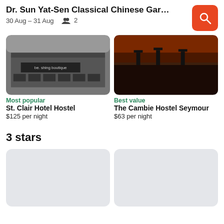Dr. Sun Yat-Sen Classical Chinese Garden - V...
30 Aug – 31 Aug   👥 2
[Figure (screenshot): Hotel building exterior – St. Clair Hotel Hostel]
Most popular
St. Clair Hotel Hostel
$125 per night
[Figure (photo): Dark interior restaurant/bar image – The Cambie Hostel Seymour]
Best value
The Cambie Hostel Seymour
$63 per night
3 stars
[Figure (photo): Loading placeholder card – grey rectangle]
[Figure (photo): Loading placeholder card – grey rectangle]